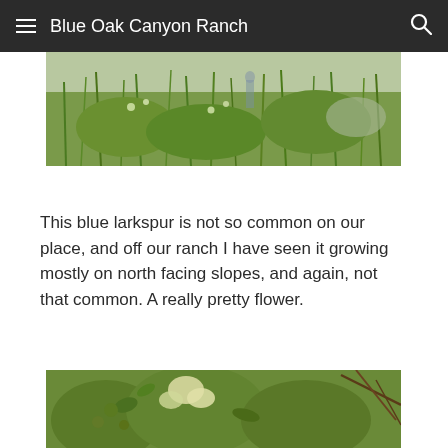Blue Oak Canyon Ranch
[Figure (photo): Outdoor photo of green grassy vegetation and shrubs with small white/yellow wildflowers, possibly larkspur habitat scene]
This blue larkspur is not so common on our place, and off our ranch I have seen it growing mostly on north facing slopes, and again, not that common.  A really pretty flower.
[Figure (photo): Photo of a leafy green shrub or small tree with clusters of small yellow-white flowers and branches, photographed outdoors]